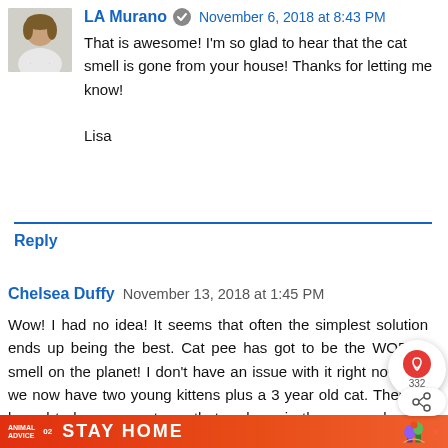[Figure (photo): Avatar photo of LA Murano, a woman in white jacket]
LA Murano November 6, 2018 at 8:43 PM
That is awesome! I'm so glad to hear that the cat smell is gone from your house! Thanks for letting me know!

Lisa
Reply
Chelsea Duffy November 13, 2018 at 1:45 PM
Wow! I had no idea! It seems that often the simplest solution ends up being the best. Cat pee has got to be the WORST smell on the planet! I don't have an issue with it right now, but we now have two young kittens plus a 3 year old cat. There is bound to be some cat pee that ends up in the wrong place in the future! I will pin this so I can come back to it then! Thanks for sharing :)
[Figure (screenshot): Animal Advice STAY HOME advertisement banner with mushroom illustration]